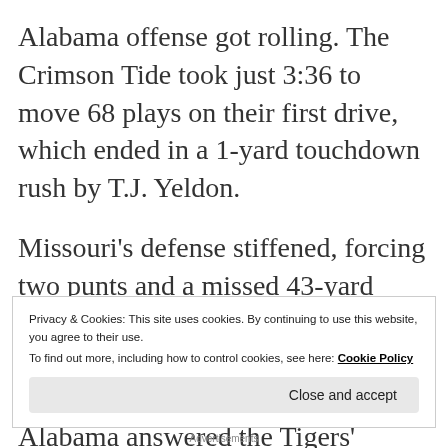Alabama offense got rolling. The Crimson Tide took just 3:36 to move 68 plays on their first drive, which ended in a 1-yard touchdown rush by T.J. Yeldon.
Missouri's defense stiffened, forcing two punts and a missed 43-yard field goal attempt on Alabama's next three drives. But the Missouri offense continued to stagnate, and Alabama answered the Tigers' fourth consecutive
Privacy & Cookies: This site uses cookies. By continuing to use this website, you agree to their use.
To find out more, including how to control cookies, see here: Cookie Policy
Close and accept
Advertisements